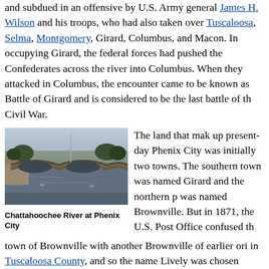and subdued in an offensive by U.S. Army general James H. Wilson and his troops, who had also taken over Tuscaloosa, Selma, Montgomery, Girard, Columbus, and Macon. In occupying Girard, the federal forces had pushed the Confederates across the river into Columbus. When they attacked in Columbus, the encounter came to be known as Battle of Girard and is considered to be the last battle of the Civil War.
[Figure (photo): Photograph of the Chattahoochee River at Phenix City, showing a stone arch bridge spanning the river at dusk, with trees and buildings visible in the background and reflections in the calm water.]
Chattahoochee River at Phenix City
The land that makes up present-day Phenix City was initially two towns. The southern town was named Girard and the northern part was named Brownville. But in 1871, the U.S. Post Office confused the town of Brownville with another Brownville of earlier origin in Tuscaloosa County, and so the name Lively was chosen